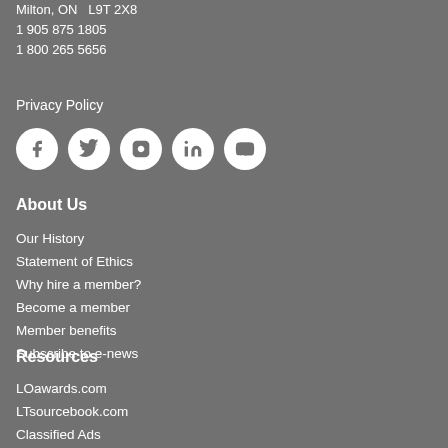7856 Fifth Line South
Milton, ON   L9T 2X8
1 905 875 1805
1 800 265 5656
Privacy Policy
[Figure (infographic): Five social media icons in white circles on grey background: Facebook, Twitter, Instagram, LinkedIn, YouTube]
About Us
Our History
Statement of Ethics
Why hire a member?
Become a member
Member benefits
Subscribe to e-news
Resources
LOawards.com
LTsourcebook.com
Classified Ads
LandscapeTrades.com
LOcongress.com
HorticultureTechnician.ca